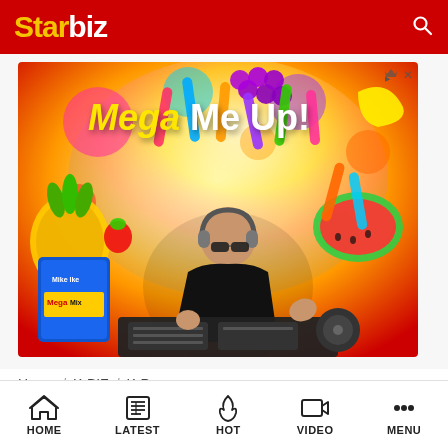Starbiz
[Figure (photo): Advertisement banner for Mike and Ike Mega Mix candy featuring a DJ with headphones at a mixer surrounded by colorful fruit and candy pieces with text 'Mega Me Up!']
Home / K-BIZ / K-Pop
Top Best Main Dancers in
HOME  LATEST  HOT  VIDEO  MENU